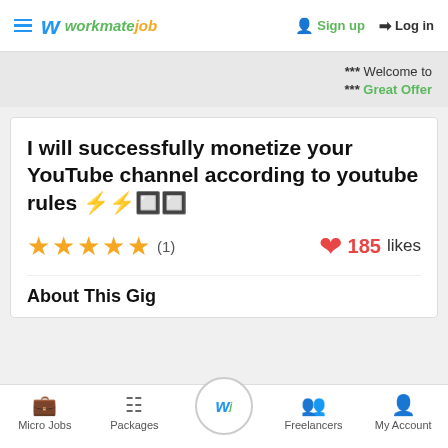WorkmateJob — Sign up  Log in
*** Welcome to
*** Great Offer
I will successfully monetize your YouTube channel according to youtube rules ⚡⚡🔲🔲
★★★★½ (1)   ❤ 185 likes
About This Gig
Micro Jobs  Packages  [logo]  Freelancers  My Account